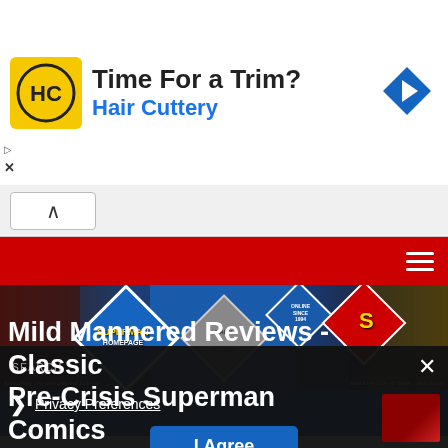[Figure (screenshot): Hair Cuttery advertisement banner with logo, 'Time For a Trim?' headline, and navigation arrow icon]
[Figure (screenshot): Superman Homepage website banner with comic characters, diamond logo patterns, Superman S-shield, and 'Online Since 1994' badge]
[Figure (screenshot): Privacy preferences cookie consent overlay with 'I Agree' button and 'Mild Mannered Reviews - Classic Pre-Crisis Superman Comics' page title visible underneath]